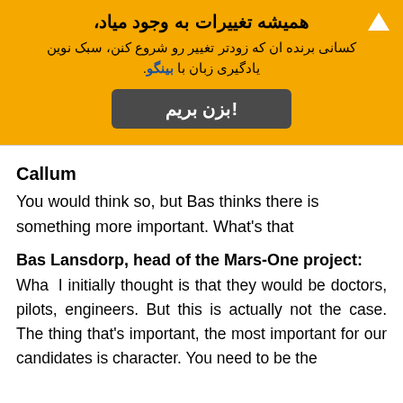[Figure (infographic): Orange banner with Persian text headline and subtitle, an up-arrow icon in the top-right, and a dark gray CTA button with Persian text 'بزن بریم!']
Callum
You would think so, but Bas thinks there is something more important. What's that
Bas Lansdorp, head of the Mars-One project:
What I initially thought is that they would be doctors, pilots, engineers. But this is actually not the case. The thing that's important, the most important for our candidates is character. You need to be the